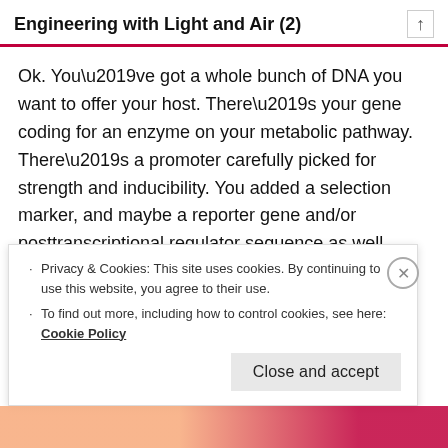Engineering with Light and Air (2)
Ok. You’ve got a whole bunch of DNA you want to offer your host. There’s your gene coding for an enzyme on your metabolic pathway. There’s a promoter carefully picked for strength and inducibility. You added a selection marker, and maybe a reporter gene and/or posttranscriptional regulator sequence as well.
Now, it needs to be actually inserted into the host.
Privacy & Cookies: This site uses cookies. By continuing to use this website, you agree to their use.
To find out more, including how to control cookies, see here: Cookie Policy